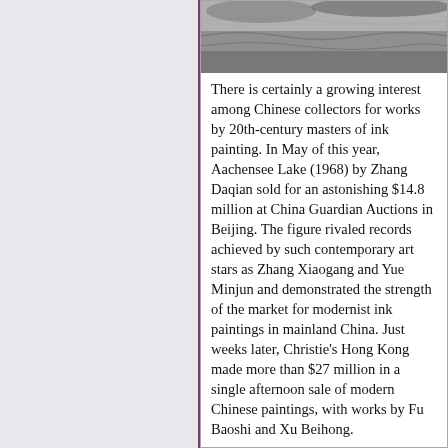[Figure (photo): A partial photograph of a landscape or nature scene, appears to show water or terrain, black and white or muted tones, partially cropped at top of right column.]
There is certainly a growing interest among Chinese collectors for works by 20th-century masters of ink painting. In May of this year, Aachensee Lake (1968) by Zhang Daqian sold for an astonishing $14.8 million at China Guardian Auctions in Beijing. The figure rivaled records achieved by such contemporary art stars as Zhang Xiaogang and Yue Minjun and demonstrated the strength of the market for modernist ink paintings in mainland China. Just weeks later, Christie's Hong Kong made more than $27 million in a single afternoon sale of modern Chinese paintings, with works by Fu Baoshi and Xu Beihong.